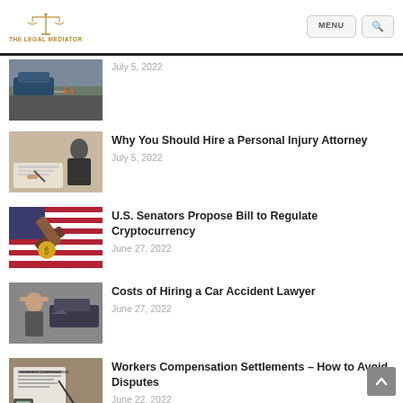THE LEGAL MEDIATOR — MENU navigation bar
[Figure (screenshot): Thumbnail image of car accident scene, partially cropped at top]
July 5, 2022
[Figure (photo): Thumbnail image of person reviewing documents with another person at table]
Why You Should Hire a Personal Injury Attorney
July 5, 2022
[Figure (photo): Thumbnail image of gavel and golden coin on American flag]
U.S. Senators Propose Bill to Regulate Cryptocurrency
June 27, 2022
[Figure (photo): Thumbnail image of man holding head beside damaged car]
Costs of Hiring a Car Accident Lawyer
June 27, 2022
[Figure (photo): Thumbnail image of workers compensation form with calculator and pen]
Workers Compensation Settlements – How to Avoid Disputes
June 22, 2022
[Figure (photo): Thumbnail image partially visible at bottom]
Steps to Follow After a Truck